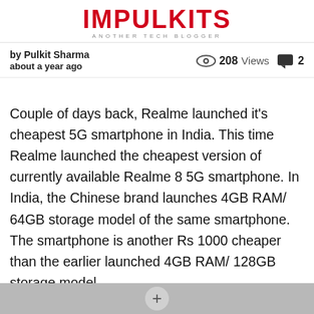IMPULKITS — ANOTHER TECH BLOGGER
by Pulkit Sharma
about a year ago
208 Views  2
Couple of days back, Realme launched it's cheapest 5G smartphone in India. This time Realme launched the cheapest version of currently available Realme 8 5G smartphone. In India, the Chinese brand launches 4GB RAM/ 64GB storage model of the same smartphone. The smartphone is another Rs 1000 cheaper than the earlier launched 4GB RAM/ 128GB storage model.
Table of Contents